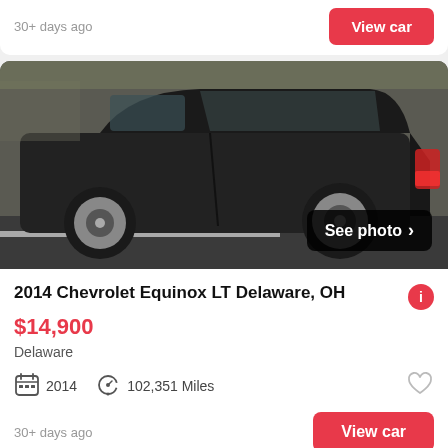30+ days ago
View car
[Figure (photo): Black Chevrolet Equinox SUV parked in a lot, side view, slightly blurry photo with 'See photo >' overlay button.]
2014 Chevrolet Equinox LT Delaware, OH
$14,900
Delaware
2014   102,351 Miles
30+ days ago
View car